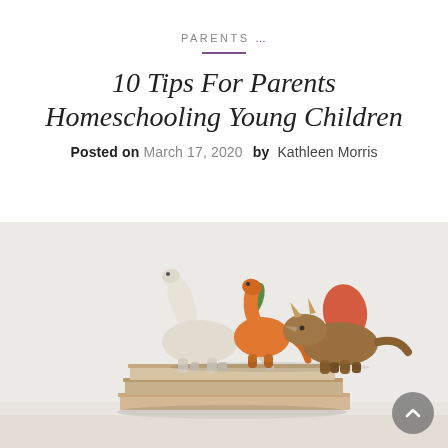PARENTS ...
10 Tips For Parents Homeschooling Young Children
Posted on March 17, 2020  by Kathleen Morris
[Figure (photo): Wooden dinosaur toys (brachiosaurus, parasaurolophus, triceratops) arranged on top of stacked books, on a light gray background]